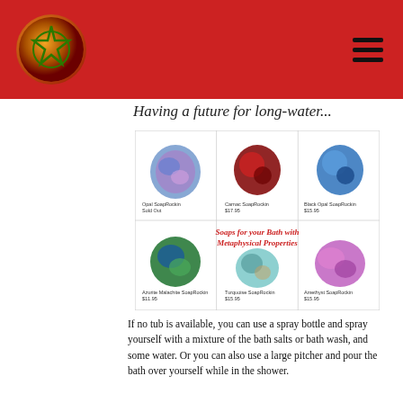Navigation header with logo and hamburger menu
Having a future for long-water...
[Figure (infographic): Product grid showing 6 soap products: Opal SoapRockin (Sold Out), Carnac SoapRockin $17.95, Black Opal SoapRockin $15.95 in top row; Azurite Malachite SoapRockin $11.95, Turquoise SoapRockin $15.95, Amethyst SoapRockin $15.95 in bottom row. Center text reads 'Soaps for your Bath with Metaphysical Properties' in red italic font.]
If no tub is available, you can use a spray bottle and spray yourself with a mixture of the bath salts or bath wash, and some water. Or you can also use a large pitcher and pour the bath over yourself while in the shower.